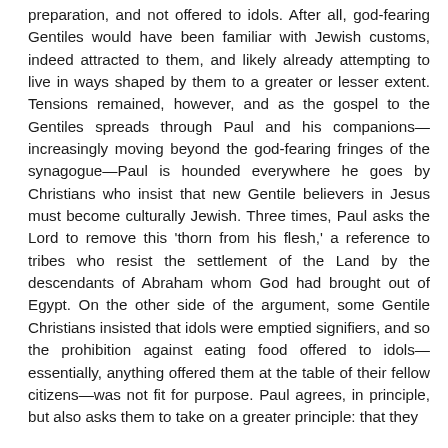preparation, and not offered to idols. After all, god-fearing Gentiles would have been familiar with Jewish customs, indeed attracted to them, and likely already attempting to live in ways shaped by them to a greater or lesser extent. Tensions remained, however, and as the gospel to the Gentiles spreads through Paul and his companions—increasingly moving beyond the god-fearing fringes of the synagogue—Paul is hounded everywhere he goes by Christians who insist that new Gentile believers in Jesus must become culturally Jewish. Three times, Paul asks the Lord to remove this 'thorn from his flesh,' a reference to tribes who resist the settlement of the Land by the descendants of Abraham whom God had brought out of Egypt. On the other side of the argument, some Gentile Christians insisted that idols were emptied signifiers, and so the prohibition against eating food offered to idols—essentially, anything offered them at the table of their fellow citizens—was not fit for purpose. Paul agrees, in principle, but also asks them to take on a greater principle: that they